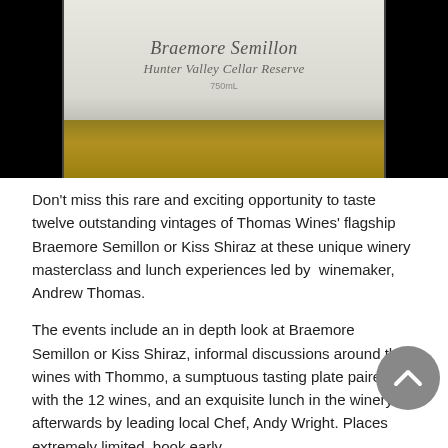[Figure (photo): Photo of a wine bottle showing the label for Braemore Semillon Hunter Valley Cellar Reserve by Thomas Wines, with a white label on a dark bottle]
Don't miss this rare and exciting opportunity to taste twelve outstanding vintages of Thomas Wines' flagship Braemore Semillon or Kiss Shiraz at these unique winery masterclass and lunch experiences led by winemaker, Andrew Thomas.
The events include an in depth look at Braemore Semillon or Kiss Shiraz, informal discussions around the wines with Thommo, a sumptuous tasting plate paired with the 12 wines, and an exquisite lunch in the winery afterwards by leading local Chef, Andy Wright. Places extremely limited, book early.
The Distinguished Dozen Braemore Semillon - Saturday 5 June 2021